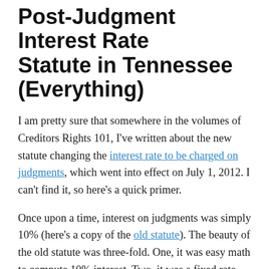Post-Judgment Interest Rate Statute in Tennessee (Everything)
I am pretty sure that somewhere in the volumes of Creditors Rights 101, I've written about the new statute changing the interest rate to be charged on judgments, which went into effect on July 1, 2012. I can't find it, so here's a quick primer.
Once upon a time, interest on judgments was simply 10% (here's a copy of the old statute). The beauty of the old statute was three-fold. One, it was easy math to compute 10% interest. Two, it was a fixed rate and it never changed, making long-term calculations easier. Three, ten percent is a creditor “friendly” rate,